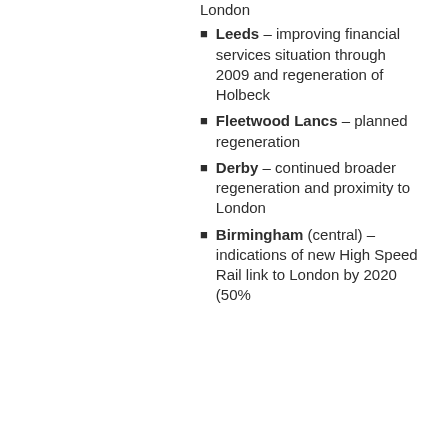London
Leeds – improving financial services situation through 2009 and regeneration of Holbeck
Fleetwood Lancs – planned regeneration
Derby – continued broader regeneration and proximity to London
Birmingham (central) – indications of new High Speed Rail link to London by 2020 (50%